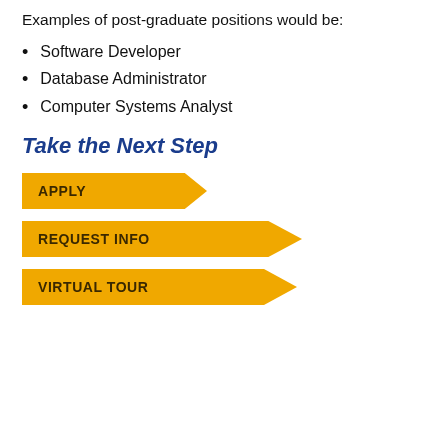Examples of post-graduate positions would be:
Software Developer
Database Administrator
Computer Systems Analyst
Take the Next Step
[Figure (other): Yellow arrow-shaped button labeled APPLY]
[Figure (other): Yellow arrow-shaped button labeled REQUEST INFO]
[Figure (other): Yellow arrow-shaped button labeled VIRTUAL TOUR]